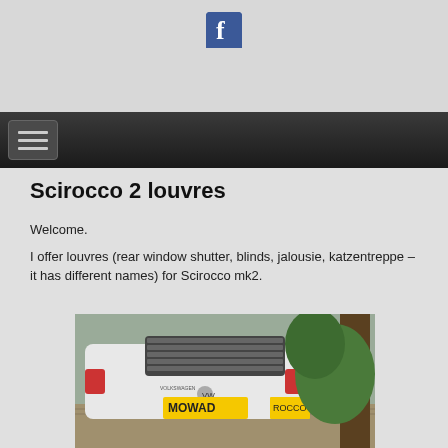[Figure (logo): Facebook logo/icon in blue, centered in the gray header area]
[Figure (other): Dark navigation bar with hamburger menu button (three horizontal lines) on the left]
Scirocco 2 louvres
Welcome.
I offer louvres (rear window shutter, blinds, jalousie, katzentreppe – it has different names) for Scirocco mk2.
[Figure (photo): Rear view of a white Volkswagen Scirocco mk2 with louvres on the rear window, yellow license plate reading MOWAD, parked on a cobblestone street with green foliage visible]